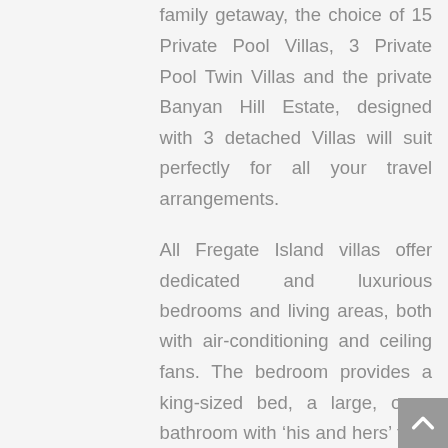family getaway, the choice of 15 Private Pool Villas, 3 Private Pool Twin Villas and the private Banyan Hill Estate, designed with 3 detached Villas will suit perfectly for all your travel arrangements.
All Fregate Island villas offer dedicated and luxurious bedrooms and living areas, both with air-conditioning and ceiling fans. The bedroom provides a king-sized bed, a large, open bathroom with ‘his and hers’ face basins, indoor and outdoor showers with rain shower heads and a bathtub. A large closet with windows and the personal safe is to be found inside.
Your spacious living area includes a TV, DVD, CD-player, complimentary wireless internet access (in the whole villa), a small bathroom